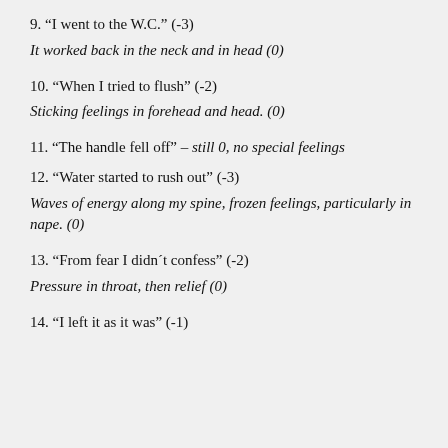9. “I went to the W.C.” (-3)
It worked back in the neck and in head (0)
10. “When I tried to flush” (-2)
Sticking feelings in forehead and head. (0)
11. “The handle fell off” – still 0, no special feelings
12. “Water started to rush out” (-3)
Waves of energy along my spine, frozen feelings, particularly in nape. (0)
13. “From fear I didn´t confess” (-2)
Pressure in throat, then relief (0)
14. “I left it as it was” (-1)